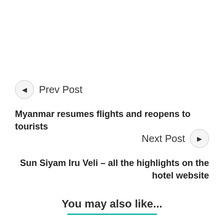Prev Post
Myanmar resumes flights and reopens to tourists
Next Post
Sun Siyam Iru Veli – all the highlights on the hotel website
You may also like...